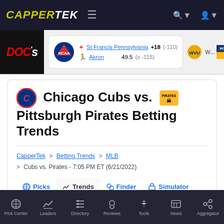CAPPERTEK
[Figure (screenshot): Ticker bar showing DOC's logo and NCAA matchup: St Francis Pennsylvania +18 (-110), Akron 49.5 (o -115)]
Chicago Cubs vs. Pittsburgh Pirates Betting Trends
CapperTek > Betting Trends > MLB > Cubs vs. Pirates - 7:05 PM ET (6/21/2022)
Picks
Trends
Finder
Simulator
Pick Center | Leaders | Directory | Reviews | Tools | News | Aggregator